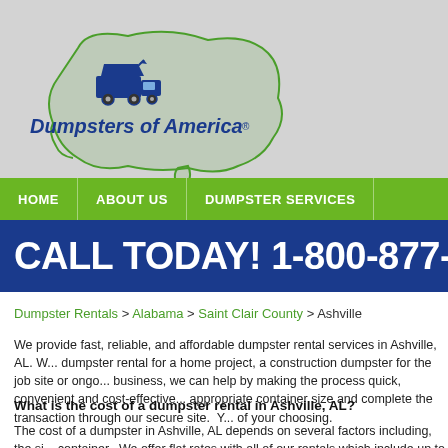[Figure (logo): Dumpsters of America logo with green USA map outline and blue dump truck icon and italic blue text 'Dumpsters of America']
HOME | ABOUT US | DUMPSTER SERVICES
CALL TODAY! 1-800-877-HAUL
Dumpster Rentals > Alabama > Saint Clair County > Ashville
We provide fast, reliable, and affordable dumpster rental services in Ashville, AL. W... dumpster rental for a home project, a construction dumpster for the job site or ongo... business, we can help by making the process quick, convenient and cost-effective... appropriate container size and complete the transaction through our secure site. Y... of your choosing.
What is the cost of a dumpster rental in Ashville, AL?
The cost of a dumpster in Ashville, AL depends on several factors including, the si... container. We offer flat rates with all of our rentals which include up to 10 days of...